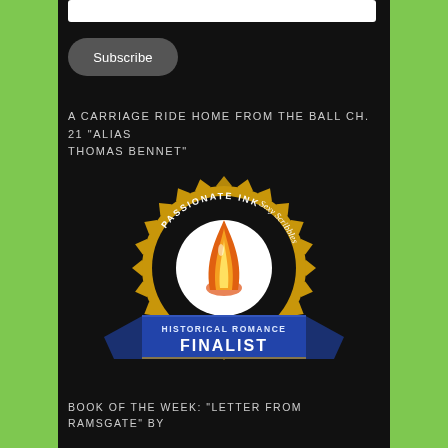[Figure (screenshot): White input/email field at top of page]
[Figure (screenshot): Dark rounded Subscribe button]
A CARRIAGE RIDE HOME FROM THE BALL CH. 21 "ALIAS THOMAS BENNET"
[Figure (logo): Passionate Ink Sexy Scribbles Historical Romance Finalist badge/seal with flame logo and blue ribbon banner]
BOOK OF THE WEEK: "LETTER FROM RAMSGATE" BY